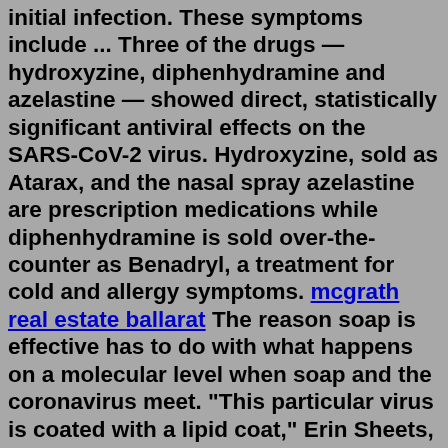initial infection. These symptoms include ... Three of the drugs — hydroxyzine, diphenhydramine and azelastine — showed direct, statistically significant antiviral effects on the SARS-CoV-2 virus. Hydroxyzine, sold as Atarax, and the nasal spray azelastine are prescription medications while diphenhydramine is sold over-the-counter as Benadryl, a treatment for cold and allergy symptoms. mcgrath real estate ballarat The reason soap is effective has to do with what happens on a molecular level when soap and the coronavirus meet. "This particular virus is coated with a lipid coat," Erin Sheets, an associate. The coronavirus disease 2019 (COVID-19) outbreak was caused by infection with the severe acute respiratory syndrome coronavirus 2 (SARS-CoV-2). The clinical outcomes of elderly individuals and those with underlying diseases affected by COVID-19 are serious, and may result in acute respiratory distre …Feb 13, 2022 · Antihistamines could provide relief for millions of people suffering from the painful and debilitating